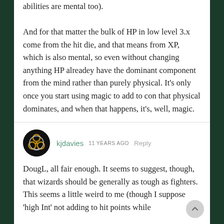abilities are mental too).

And for that matter the bulk of HP in low level 3.x come from the hit die, and that means from XP, which is also mental, so even without changing anything HP alreadey have the dominant component from the mind rather than purely physical. It's only once you start using magic to add to con that physical dominates, and when that happens, it's, well, magic.
kjdavies  11 YEARS AGO  Reply
DougL, all fair enough. It seems to suggest, though, that wizards should be generally as tough as fighters. This seems a little weird to me (though I suppose 'high Int' not adding to hit points while